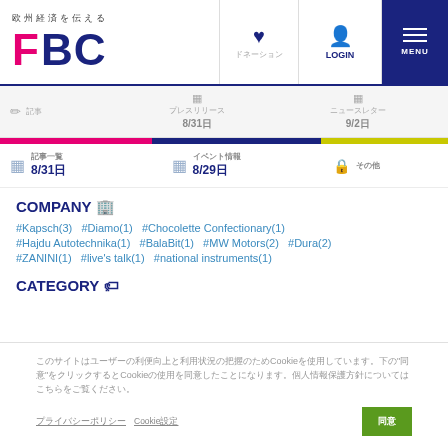欧州経済を伝える FBC — ドネーション LOGIN MENU
📋 記事　📋 ブログ記事 8/31日　📋 ニュース 9/2日
📋 記事一覧 8/31日　📋 イベント情報 8/29日　🔒 その他
COMPANY 🏢
#Kapsch(3)  #Diamo(1)  #Chocolette Confectionary(1)
#Hajdu Autotechnika(1)  #BalaBit(1)  #MW Motors(2)  #Dura(2)
#ZANINI(1)  #live's talk(1)  #national instruments(1)
CATEGORY 🏷
このサイトはユーザーの利便向上と利用状況の把握のためCookieを使用しています。下の"同意"をクリックするとCookieの使用を同意したことになります。個人情報保護方針についてはこちらをご覧ください。
プライバシーポリシー　Cookie設定　同意